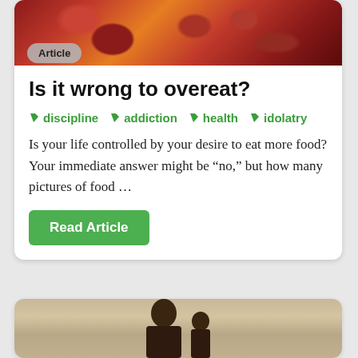[Figure (photo): Food photo showing pizza or similar dish with red meat toppings, viewed from above, cropped at top of card]
Article
Is it wrong to overeat?
discipline  addiction  health  idolatry
Is your life controlled by your desire to eat more food? Your immediate answer might be “no,” but how many pictures of food …
Read Article
[Figure (photo): Photo of a woman and child, bottom card partially visible]